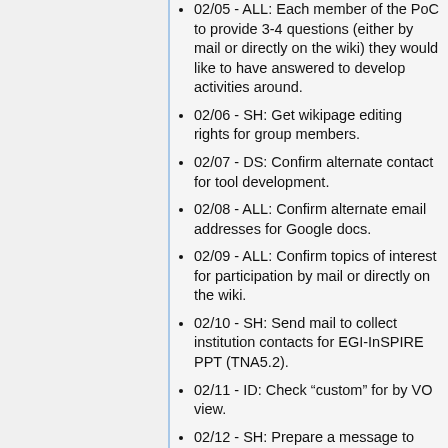02/05 - ALL: Each member of the PoC to provide 3-4 questions (either by mail or directly on the wiki) they would like to have answered to develop activities around.
02/06 - SH: Get wikipage editing rights for group members.
02/07 - DS: Confirm alternate contact for tool development.
02/08 - ALL: Confirm alternate email addresses for Google docs.
02/09 - ALL: Confirm topics of interest for participation by mail or directly on the wiki.
02/10 - SH: Send mail to collect institution contacts for EGI-InSPIRE PPT (TNA5.2).
02/11 - ID: Check “custom” for by VO view.
02/12 - SH: Prepare a message to